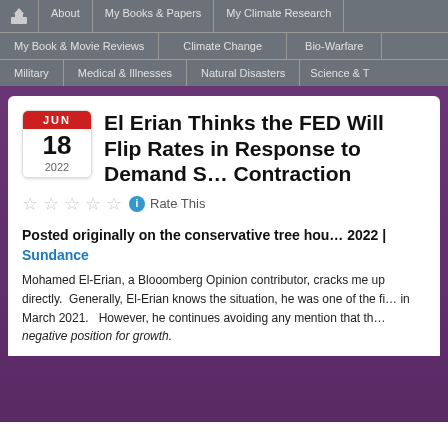About | My Books & Papers | My Climate Research | My Book & Movie Reviews | Climate Change | Bio-Warfare | Military | Medical & Illnesses | Natural Disasters | Science & T
El Erian Thinks the FED Will Flip Rates in Response to Demand Shock Contraction
Rate This
Posted originally on the conservative tree house … 2022 | Sundance
Mohamed El-Erian, a Blooomberg Opinion contributor, cracks me up directly. Generally, El-Erian knows the situation, he was one of the first in March 2021. However, he continues avoiding any mention that th negative position for growth.